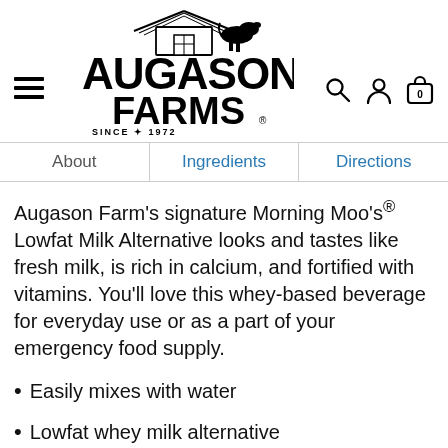Augason Farms logo with navigation icons (search, account, cart)
| About | Ingredients | Directions |
| --- | --- | --- |
Augason Farm's signature Morning Moo's® Lowfat Milk Alternative looks and tastes like fresh milk, is rich in calcium, and fortified with vitamins. You'll love this whey-based beverage for everyday use or as a part of your emergency food supply.
Easily mixes with water
Lowfat whey milk alternative